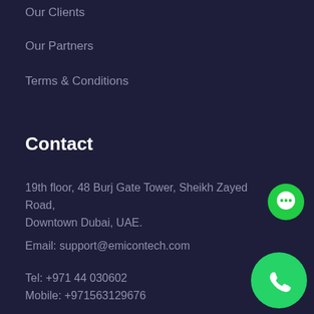Our Clients
Our Partners
Terms & Conditions
Contact
19th floor, 48 Burj Gate Tower, Sheikh Zayed Road, Downtown Dubai, UAE.
Email: support@emicontech.com
Tel: +971 44 030602
Mobile: +971563129676
[Figure (illustration): Green circle chat bubble icon]
[Figure (logo): WhatsApp logo - green circle with white phone handset icon]